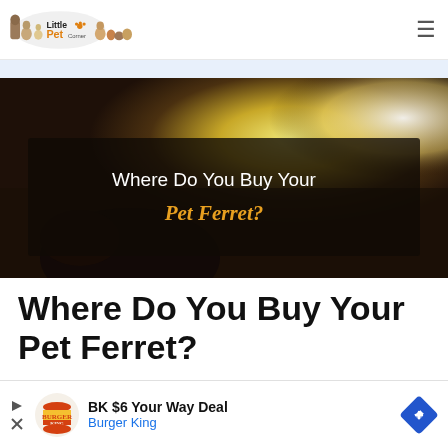Little Pet Corner
[Figure (photo): Hero banner image showing a ferret on a dark background with golden/green bokeh lighting, with a dark semi-transparent overlay box containing the title text 'Where Do You Buy Your Pet Ferret?']
Where Do You Buy Your Pet Ferret?
[Figure (other): Advertisement banner: Burger King BK $6 Your Way Deal]